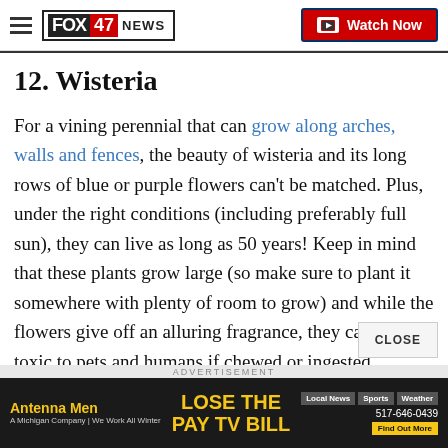FOX 47 NEWS — Watch Now
12. Wisteria
For a vining perennial that can grow along arches, walls and fences, the beauty of wisteria and its long rows of blue or purple flowers can't be matched. Plus, under the right conditions (including preferably full sun), they can live as long as 50 years! Keep in mind that these plants grow large (so make sure to plant it somewhere with plenty of room to grow) and while the flowers give off an alluring fragrance, they can be toxic to pets and humans if chewed or ingested.
[Figure (infographic): Advertisement banner: Antenna Men - LOSE THE PAY TV BILL. Local News, Sports, Weather. A Michigan Company | We Work All Winter. 517-646-0439. Find Out More.]